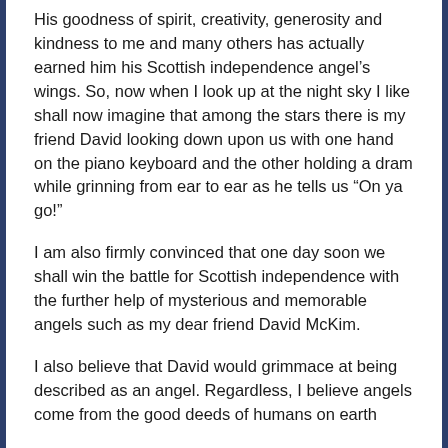His goodness of spirit, creativity, generosity and kindness to me and many others has actually earned him his Scottish independence angel’s wings. So, now when I look up at the night sky I like shall now imagine that among the stars there is my friend David looking down upon us with one hand on the piano keyboard and the other holding a dram while grinning from ear to ear as he tells us “On ya go!”
I am also firmly convinced that one day soon we shall win the battle for Scottish independence with the further help of mysterious and memorable angels such as my dear friend David McKim.
I also believe that David would grimmace at being described as an angel. Regardless, I believe angels come from the good deeds of humans on earth